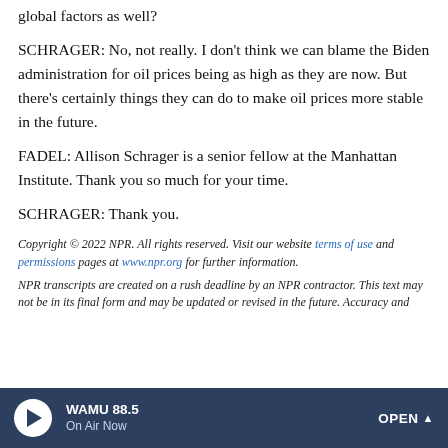global factors as well?
SCHRAGER: No, not really. I don't think we can blame the Biden administration for oil prices being as high as they are now. But there's certainly things they can do to make oil prices more stable in the future.
FADEL: Allison Schrager is a senior fellow at the Manhattan Institute. Thank you so much for your time.
SCHRAGER: Thank you.
Copyright © 2022 NPR. All rights reserved. Visit our website terms of use and permissions pages at www.npr.org for further information.
NPR transcripts are created on a rush deadline by an NPR contractor. This text may not be in its final form and may be updated or revised in the future. Accuracy and
WAMU 88.5 | On Air Now | OPEN